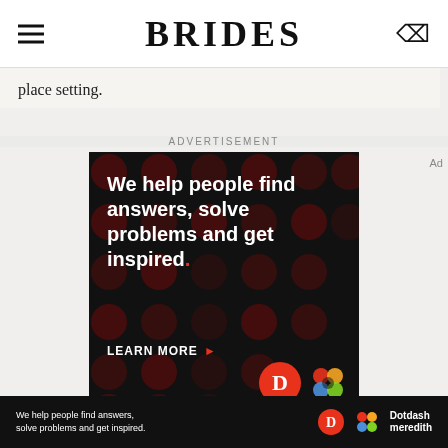BRIDES
place setting.
ADVERTISEMENT
[Figure (infographic): Dark advertisement with red polka dot pattern background. White bold text reads: 'We help people find answers, solve problems and get inspired.' with a red period. Below is 'LEARN MORE' with red arrow. Bottom right shows Dotdash logo (red circle with D) and colorful flower/knot logo.]
[Figure (infographic): Bottom bar advertisement: black background with white text 'We help people find answers, solve problems and get inspired.' alongside Dotdash Meredith logos.]